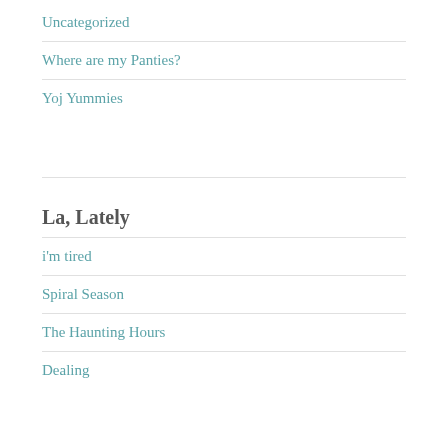Uncategorized
Where are my Panties?
Yoj Yummies
La, Lately
i'm tired
Spiral Season
The Haunting Hours
Dealing